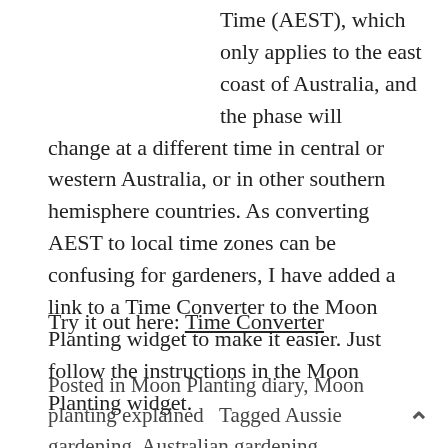Time (AEST), which only applies to the east coast of Australia, and the phase will change at a different time in central or western Australia, or in other southern hemisphere countries. As converting AEST to local time zones can be confusing for gardeners, I have added a link to a Time Converter to the Moon Planting widget to make it easier. Just follow the instructions in the Moon Planting widget.
Try it out here: Time Converter
Posted in Moon Planting diary, Moon planting explained   Tagged Aussie gardening, Australian gardening, climate change gardening, easy gardening